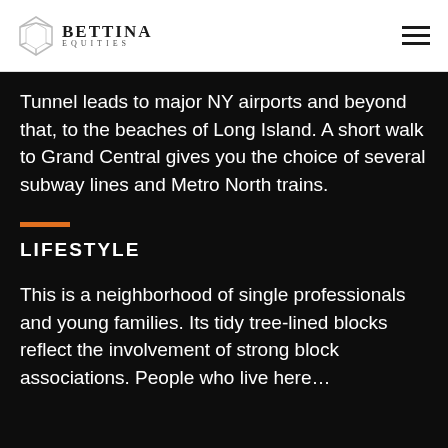BETTINA EQUITIES
Tunnel leads to major NY airports and beyond that, to the beaches of Long Island. A short walk to Grand Central gives you the choice of several subway lines and Metro North trains.
LIFESTYLE
This is a neighborhood of single professionals and young families. Its tidy tree-lined blocks reflect the involvement of strong block associations. People who live here…